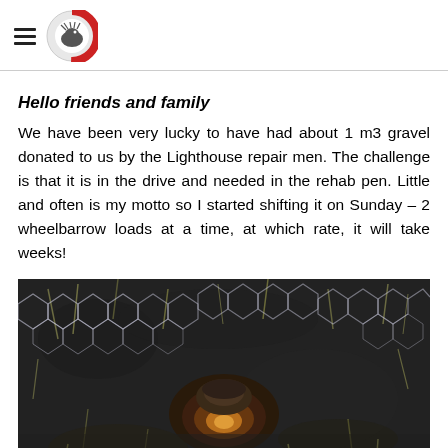[Hamburger menu icon] [Organization logo]
Hello friends and family
We have been very lucky to have had about 1 m3 gravel donated to us by the Lighthouse repair men. The challenge is that it is in the drive and needed in the rehab pen. Little and often is my motto so I started shifting it on Sunday – 2 wheelbarrow loads at a time, at which rate, it will take weeks!
[Figure (photo): Close-up photo of an animal (possibly a hedgehog or small mammal) on dark soil with wire mesh netting and grass visible]